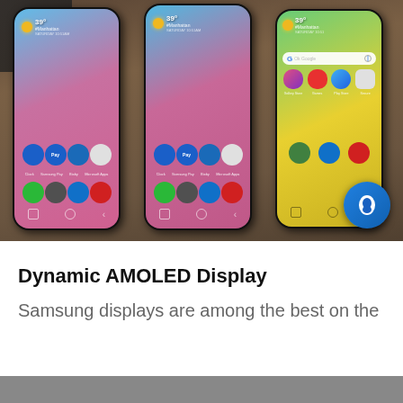[Figure (photo): Three Samsung Galaxy S10 smartphones displayed side by side showing their screens with pink/blue gradient wallpapers (left two phones) and a yellow-green wallpaper (right phone). All phones show Samsung One UI home screens with app icons including Clock, Samsung Pay, Bixby, Calendar, Phone, Messages, and others. A Bixby logo (blue circle with white 'b') is visible in the bottom right corner of the image. The phones are resting on what appears to a dark surface.]
Dynamic AMOLED Display
Samsung displays are among the best on the